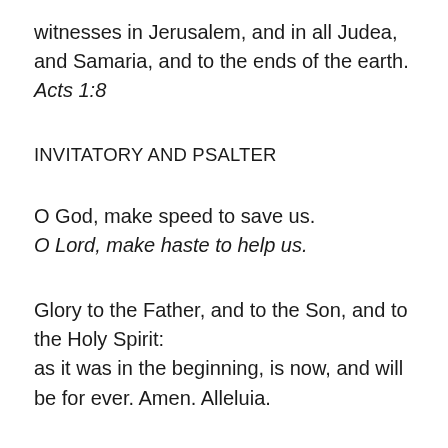witnesses in Jerusalem, and in all Judea, and Samaria, and to the ends of the earth. Acts 1:8
INVITATORY AND PSALTER
O God, make speed to save us.
O Lord, make haste to help us.
Glory to the Father, and to the Son, and to the Holy Spirit: as it was in the beginning, is now, and will be for ever. Amen. Alleluia.